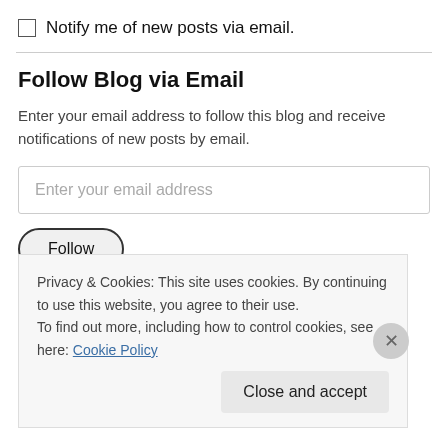Notify me of new posts via email.
Follow Blog via Email
Enter your email address to follow this blog and receive notifications of new posts by email.
Enter your email address
Follow
Join 2,205 other followers
Privacy & Cookies: This site uses cookies. By continuing to use this website, you agree to their use.
To find out more, including how to control cookies, see here: Cookie Policy
Close and accept